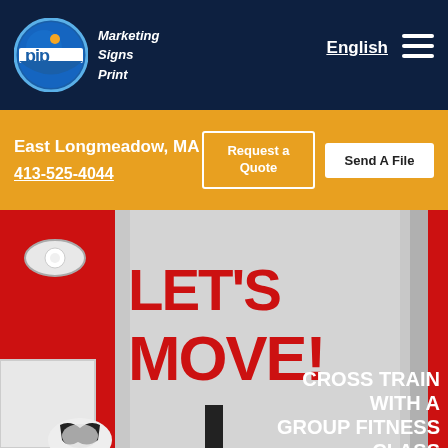[Figure (logo): PIP Marketing Signs Print logo — blue circular logo with white 'pip' text and orange dot, followed by 'Marketing Signs Print' text in white]
English
East Longmeadow, MA
413-525-4044
Request a Quote
Send A File
[Figure (photo): Gym interior showing barbell weights on a red and gray background with large bold text reading LET'S MOVE! in red, and CROSS TRAIN WITH A GROUP FITNESS CLASS in white]